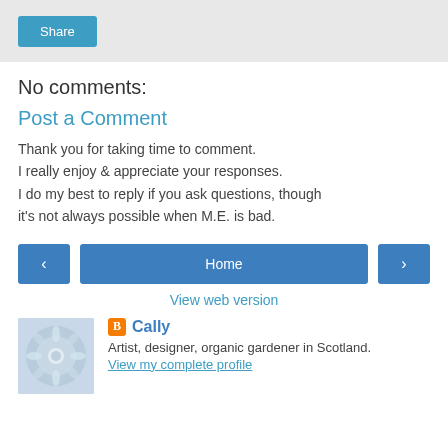[Figure (other): Share button bar with light gray background]
No comments:
Post a Comment
Thank you for taking time to comment.
I really enjoy & appreciate your responses.
I do my best to reply if you ask questions, though it's not always possible when M.E. is bad.
[Figure (other): Navigation row with back arrow button, Home button, and forward arrow button]
View web version
[Figure (other): Profile image with decorative snowflake/mandala pattern]
Cally
Artist, designer, organic gardener in Scotland.
View my complete profile